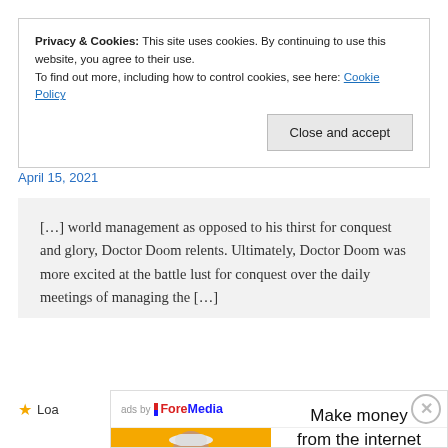Privacy & Cookies: This site uses cookies. By continuing to use this website, you agree to their use.
To find out more, including how to control cookies, see here: Cookie Policy
Close and accept
April 15, 2021
[…] world management as opposed to his thirst for conquest and glory, Doctor Doom relents. Ultimately, Doctor Doom was more excited at the battle lust for conquest over the daily meetings of managing the […]
[Figure (photo): Advertisement showing a woman holding a fan of money bills against an orange/yellow background, with text: Make money from the internet today! alongside ads by ForeMedia branding.]